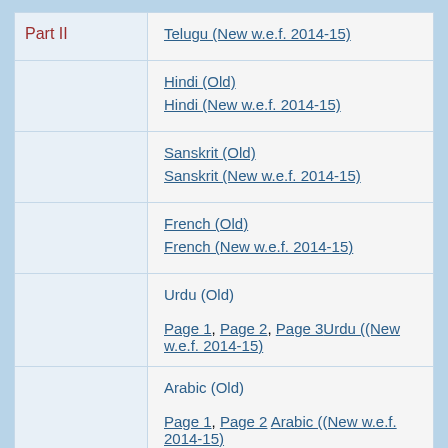| Part II | Telugu (New w.e.f. 2014-15) |
|  | Hindi (Old)
Hindi (New w.e.f. 2014-15) |
|  | Sanskrit (Old)
Sanskrit (New w.e.f. 2014-15) |
|  | French (Old)
French (New w.e.f. 2014-15) |
|  | Urdu (Old)
Page 1, Page 2, Page 3Urdu ((New w.e.f. 2014-15) |
|  | Arabic (Old)
Page 1, Page 2 Arabic ((New w.e.f. 2014-15) |